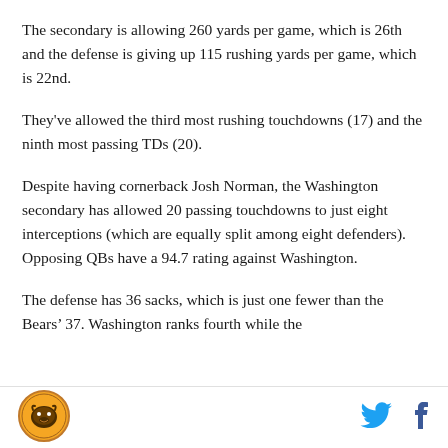The secondary is allowing 260 yards per game, which is 26th and the defense is giving up 115 rushing yards per game, which is 22nd.
They’ve allowed the third most rushing touchdowns (17) and the ninth most passing TDs (20).
Despite having cornerback Josh Norman, the Washington secondary has allowed 20 passing touchdowns to just eight interceptions (which are equally split among eight defenders). Opposing QBs have a 94.7 rating against Washington.
The defense has 36 sacks, which is just one fewer than the Bears’ 37. Washington ranks fourth while the
[Figure (logo): Chicago Bears logo circle with bear illustration]
[Figure (logo): Twitter bird icon in blue]
[Figure (logo): Facebook f icon in dark blue]